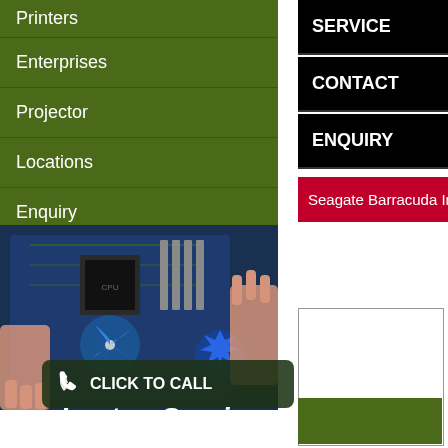Printers
Enterprises
Projector
Locations
Enquiry
Contact
SERVICE
CONTACT
ENQUIRY
Seagate Barracuda Inte
[Figure (photo): Hands working on a computer motherboard/graphics card with blue components and cooling fans]
CLICK TO CALL
Laptop Service